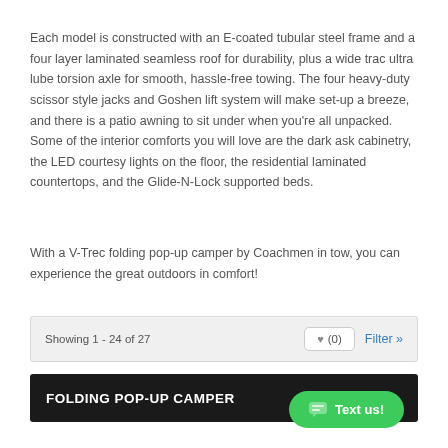Each model is constructed with an E-coated tubular steel frame and a four layer laminated seamless roof for durability, plus a wide trac ultra lube torsion axle for smooth, hassle-free towing. The four heavy-duty scissor style jacks and Goshen lift system will make set-up a breeze, and there is a patio awning to sit under when you're all unpacked. Some of the interior comforts you will love are the dark ask cabinetry, the LED courtesy lights on the floor, the residential laminated countertops, and the Glide-N-Lock supported beds.
With a V-Trec folding pop-up camper by Coachmen in tow, you can experience the great outdoors in comfort!
Showing 1 - 24 of 27
FOLDING POP-UP CAMPER